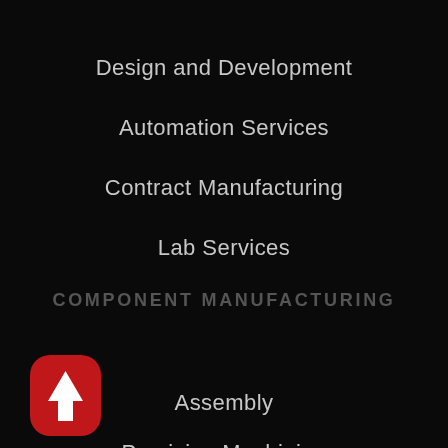Design and Development
Automation Services
Contract Manufacturing
Lab Services
COMPONENT MANUFACTURING
Assembly
Precision Machining
Contact CM Sales
Parts Gallery
[Figure (illustration): Red rounded-rectangle back-to-top button with white upward arrow]